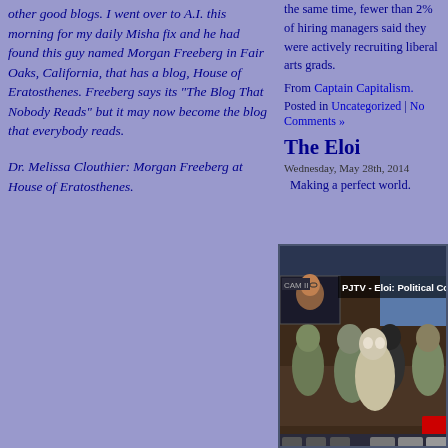other good blogs. I went over to A.I. this morning for my daily Misha fix and he had found this guy named Morgan Freeberg in Fair Oaks, California, that has a blog, House of Eratosthenes. Freeberg says its "The Blog That Nobody Reads" but it may now become the blog that everybody reads.
Dr. Melissa Clouthier: Morgan Freeberg at House of Eratosthenes.
the same time, fewer than 2% of hiring managers said they were actively recruiting liberal arts grads.
From Captain Capitalism.
Posted in Uncategorized | No Comments »
The Eloi
Wednesday, May 28th, 2014
Making a perfect world.
[Figure (screenshot): Video thumbnail showing PJTV - Eloi: Political Correctness video with creatures from a sci-fi scene and a man in the top-left corner]